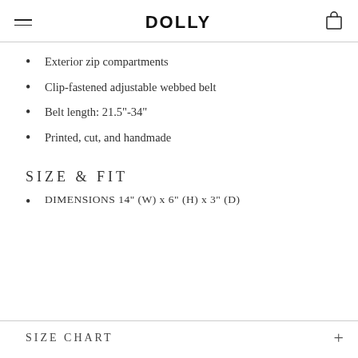DOLLY
Exterior zip compartments
Clip-fastened adjustable webbed belt
Belt length: 21.5"-34"
Printed, cut, and handmade
SIZE & FIT
DIMENSIONS 14" (W) x 6" (H) x 3" (D)
SIZE CHART